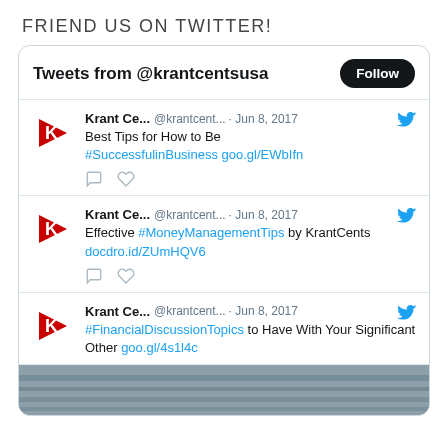FRIEND US ON TWITTER!
[Figure (screenshot): Twitter widget showing tweets from @krantcentsusa with a Follow button, three tweets from Krant Ce... @krantcent... Jun 8, 2017, and a partial image at the bottom.]
Tweets from @krantcentsusa
Krant Ce... @krantcent... · Jun 8, 2017
Best Tips for How to Be #SuccessfulinBusiness goo.gl/EWbIfn
Krant Ce... @krantcent... · Jun 8, 2017
Effective #MoneyManagementTips by KrantCents docdro.id/ZUmHQV6
Krant Ce... @krantcent... · Jun 8, 2017
#FinancialDiscussionTopics to Have With Your Significant Other goo.gl/4s1l4c